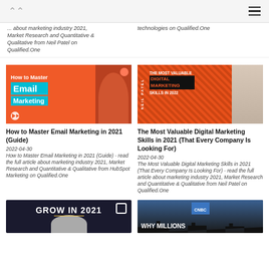Navigation header with chevron and hamburger menu
... about marketing industry 2021, Market Research and Quantitative & Qualitative from Neil Patel on Qualified.One ... technologies on Qualified.One
[Figure (screenshot): How to Master Email Marketing thumbnail - orange background with teal text blocks and person]
How to Master Email Marketing in 2021 (Guide)
2022-04-30
How to Master Email Marketing in 2021 (Guide) - read the full article about marketing industry 2021, Market Research and Quantitative & Qualitative from HubSpot Marketing on Qualified.One
[Figure (screenshot): The Most Valuable Digital Marketing Skills in 2022 - Neil Patel thumbnail with orange/dark background]
The Most Valuable Digital Marketing Skills in 2021 (That Every Company Is Looking For)
2022-04-30
The Most Valuable Digital Marketing Skills in 2021 (That Every Company Is Looking For) - read the full article about marketing industry 2021, Market Research and Quantitative & Qualitative from Neil Patel on Qualified.One
[Figure (screenshot): Grow in 2021 Instagram thumbnail with dark background]
[Figure (screenshot): CNBC Why Millions thumbnail with dark background and city silhouette]